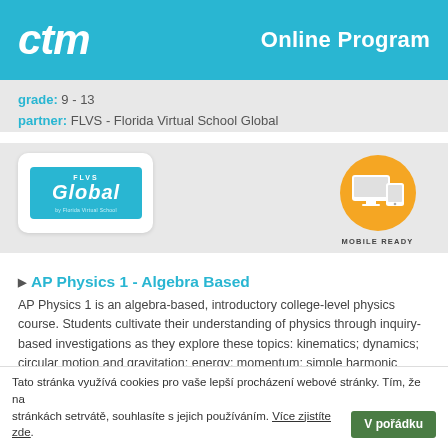ctm — Online Program
grade: 9 - 13
partner: FLVS - Florida Virtual School Global
[Figure (logo): FLVS Global logo — teal/cyan background with 'GLOBAL by Florida Virtual School' text in white]
[Figure (infographic): Mobile Ready badge — orange circle with monitor/tablet/phone icons, text 'MOBILE READY' below]
AP Physics 1 - Algebra Based
AP Physics 1 is an algebra-based, introductory college-level physics course. Students cultivate their understanding of physics through inquiry-based investigations as they explore these topics: kinematics; dynamics; circular motion and gravitation; energy; momentum; simple harmonic motion; torque and rotational motion; electric charge and electric force; DC circuits; and mechanical waves and sound. AP
Tato stránka využívá cookies pro vaše lepší procházení webové stránky. Tím, že na stránkách setrvátě, souhlasíte s jejich používáním. Více zjistíte zde.